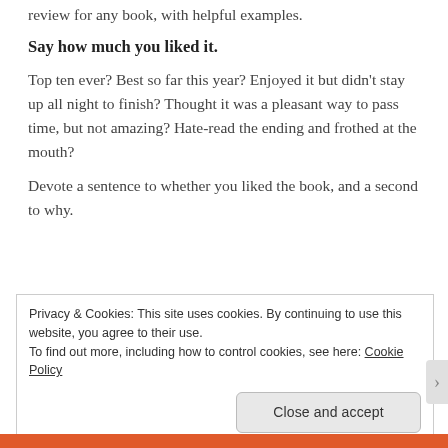review for any book, with helpful examples.
Say how much you liked it.
Top ten ever? Best so far this year? Enjoyed it but didn't stay up all night to finish? Thought it was a pleasant way to pass time, but not amazing? Hate-read the ending and frothed at the mouth?
Devote a sentence to whether you liked the book, and a second to why.
Privacy & Cookies: This site uses cookies. By continuing to use this website, you agree to their use.
To find out more, including how to control cookies, see here: Cookie Policy
Close and accept